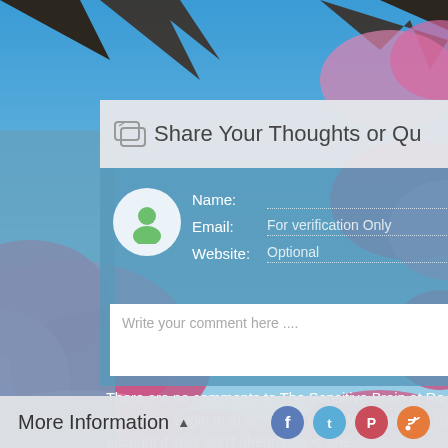[Figure (photo): Cherry blossom trees with pink flowers against a blue sky background photo]
Share Your Thoughts or Qu
Name:
Email: For verification Only
Website: Optional
Write your comment here ....
There are no comments to The Sensitive Brain at Re comment. Login in to comment using your account user account if your don't already have one.
More Information ▲